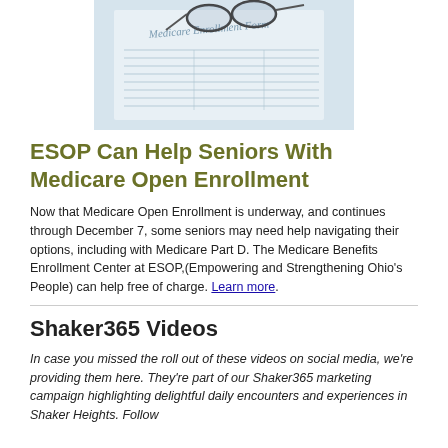[Figure (photo): Medicare Enrollment Form with glasses resting on top of the form, blue-tinted photo]
ESOP Can Help Seniors With Medicare Open Enrollment
Now that Medicare Open Enrollment is underway, and continues through December 7, some seniors may need help navigating their options, including with Medicare Part D. The Medicare Benefits Enrollment Center at ESOP,(Empowering and Strengthening Ohio's People) can help free of charge. Learn more.
Shaker365 Videos
In case you missed the roll out of these videos on social media, we're providing them here. They're part of our Shaker365 marketing campaign highlighting delightful daily encounters and experiences in Shaker Heights. Follow